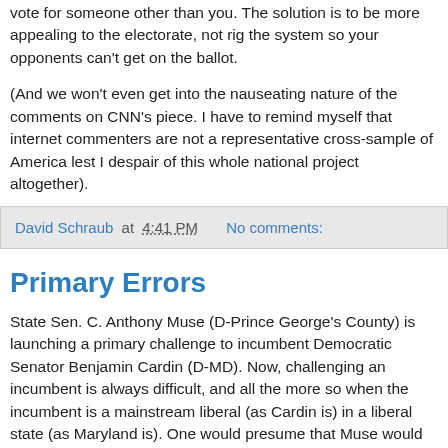vote for someone other than you. The solution is to be more appealing to the electorate, not rig the system so your opponents can't get on the ballot.
(And we won't even get into the nauseating nature of the comments on CNN's piece. I have to remind myself that internet commenters are not a representative cross-sample of America lest I despair of this whole national project altogether).
David Schraub at 4:41 PM   No comments:
Primary Errors
State Sen. C. Anthony Muse (D-Prince George's County) is launching a primary challenge to incumbent Democratic Senator Benjamin Cardin (D-MD). Now, challenging an incumbent is always difficult, and all the more so when the incumbent is a mainstream liberal (as Cardin is) in a liberal state (as Maryland is). One would presume that Muse would